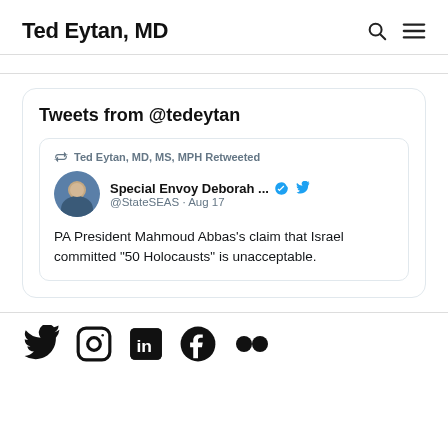Ted Eytan, MD
Tweets from @tedeytan
Ted Eytan, MD, MS, MPH Retweeted
Special Envoy Deborah ... @StateSEAS · Aug 17
PA President Mahmoud Abbas's claim that Israel committed "50 Holocausts" is unacceptable.
[Figure (other): Social media icons row: Twitter bird, Instagram, LinkedIn, Facebook, Flickr]